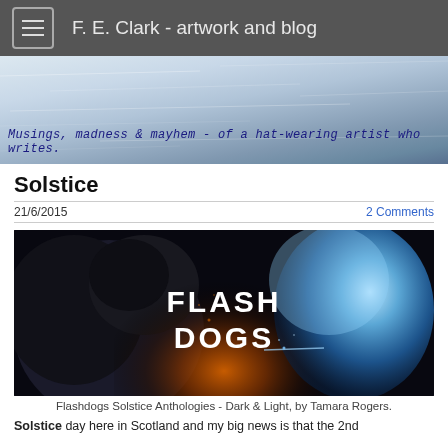F. E. Clark - artwork and blog
[Figure (photo): Blog banner image with snowy/icy texture background and cursive blue tagline text: Musings, madness & mayhem - of a hat-wearing artist who writes.]
Solstice
21/6/2015
2 Comments
[Figure (photo): Flashdogs Solstice Anthologies image showing a dark wolf on the left and a glowing blue/white wolf on the right with 'FLASH DOGS' text in the center, artwork by Tamara Rogers.]
Flashdogs Solstice Anthologies - Dark & Light, by Tamara Rogers.
Solstice day here in Scotland and my big news is that the 2nd